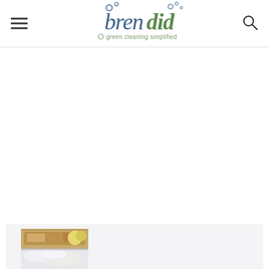bren did – green cleaning simplified
[Figure (photo): Partial view of a baked good (bread/cake slice) with apples visible in background, and below it a white creamy dish, shown at bottom of page in a card layout]